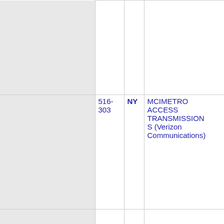|  | 516-303 | NY | MCIMETRO ACCESS TRANSMISSIONS (Verizon Communications) | 7133 | NASS... |
| --- | --- | --- | --- | --- | --- |
|  |  |  |  |  |  |
|  | 516-303 | NY | MCIMETRO ACCESS TRANSMISSIONS (Verizon Communications) | 7133 | NASS... |
|  |  |  |  |  |  |